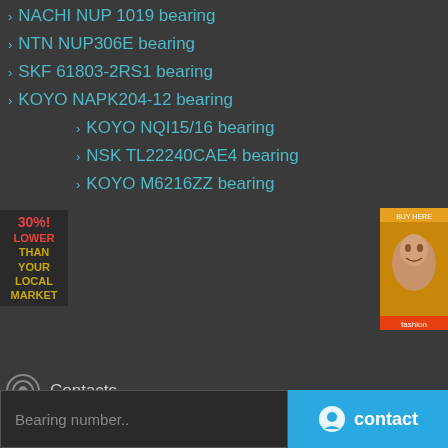> NACHI NUP 1019 bearing
> NTN NUP306E bearing
> SKF 61803-2RS1 bearing
> KOYO NAPK204-12 bearing
> KOYO NQI15/16 bearing
> NSK TL22240CAE4 bearing
> KOYO M6216ZZ bearing
[Figure (infographic): Promotional badge: 30% LOWER THAN YOUR LOCAL MARKET in red and gold text on dark background]
[Figure (photo): Advertisement image showing a woman's face with product info]
Contacts
ROOM 19/F AiLeiw 532
Basheki.sepwer.Hong Kong
E-mail: sale@qualitybearing.org
Copyright © 2019. Company name All rights reserved.
Bearing number..